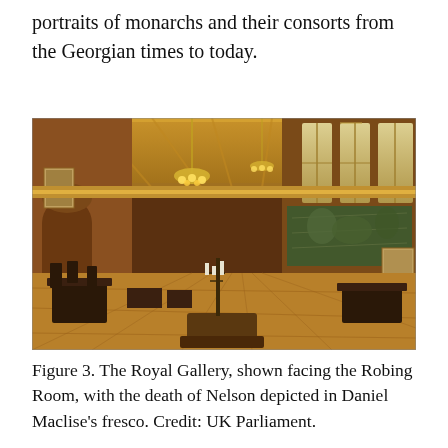portraits of monarchs and their consorts from the Georgian times to today.
[Figure (photo): Interior photograph of the Royal Gallery in the UK Parliament, showing a grand hall with ornate gilded ceiling, large chandeliers, tall stained-glass windows, dark wood paneling, large fresco murals on the walls, and antique dark wooden furniture arranged on a patterned floor. A candelabra stands in the center foreground.]
Figure 3. The Royal Gallery, shown facing the Robing Room, with the death of Nelson depicted in Daniel Maclise's fresco. Credit: UK Parliament.